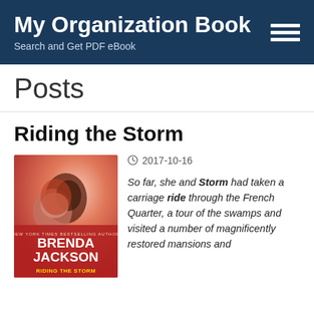My Organization Book
Search and Get PDF eBook
Posts
Riding the Storm
[Figure (photo): Book cover of 'Riding the Storm' by Brenda Jackson, showing two people embracing with red/pink tones. Author name 'Brenda Jackson' visible on cover.]
2017-10-16
So far, she and Storm had taken a carriage ride through the French Quarter, a tour of the swamps and visited a number of magnificently restored mansions and